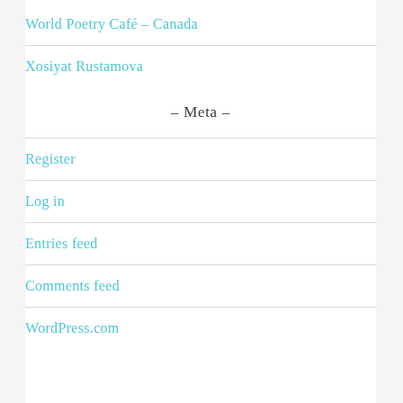World Poetry Café – Canada
Xosiyat Rustamova
- Meta -
Register
Log in
Entries feed
Comments feed
WordPress.com